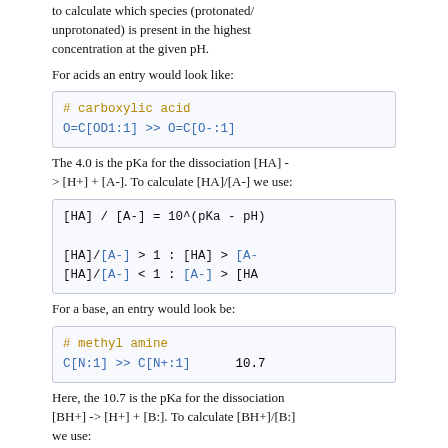to calculate which species (protonated/unprotonated) is present in the highest concentration at the given pH.
For acids an entry would look like:
[Figure (screenshot): Code box showing: # carboxylic acid
O=C[OD1:1] >> O=C[O-:1]]
The 4.0 is the pKa for the dissociation [HA] -> [H+] + [A-]. To calculate [HA]/[A-] we use:
[Figure (screenshot): Code box showing formula: [HA] / [A-] = 10^(pKa - pH)
[HA]/[A-] > 1 : [HA] > [A-]
[HA]/[A-] < 1 : [A-] > [HA]]
For a base, an entry would look be:
[Figure (screenshot): Code box showing: # methyl amine
C[N:1] >> C[N+:1]      10.7]
Here, the 10.7 is the pKa for the dissociation [BH+] -> [H+] + [B:]. To calculate [BH+]/[B:] we use:
[Figure (screenshot): Code box showing: [BH+] / [B:] = 10^(pKa - pH)
[BH+]/[B:] > 1 : [BH+] > [B...
[BH+]/[B:] < 1 : [B:] > [BH...]